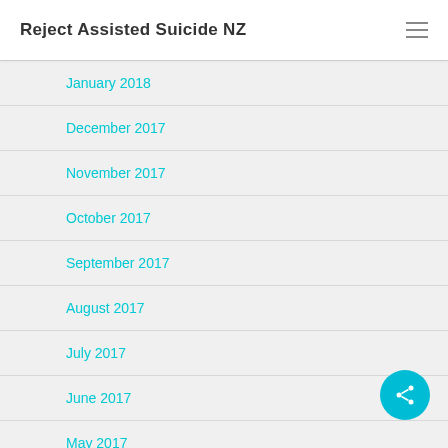Reject Assisted Suicide NZ
January 2018
December 2017
November 2017
October 2017
September 2017
August 2017
July 2017
June 2017
May 2017
April 2017